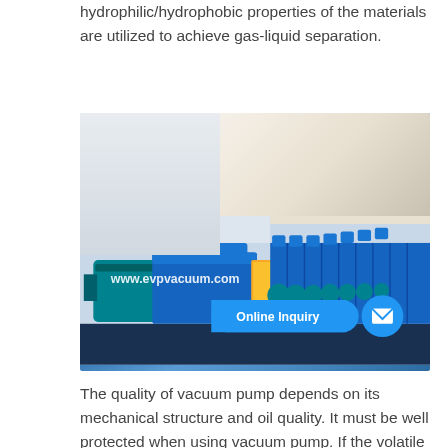hydrophilic/hydrophobic properties of the materials are utilized to achieve gas-liquid separation.
[Figure (photo): Row of industrial blue vacuum pumps with teal electric motors and yellow belts in a factory/warehouse setting. The pumps are arranged in a long line. Overlaid with www.evpvacuum.com watermark and an 'Online Inquiry' button with envelope icon.]
The quality of vacuum pump depends on its mechanical structure and oil quality. It must be well protected when using vacuum pump. If the volatile organic solvent is distilled, the organic solvent will be absorbed by the oil. As a result, the vapor pressure will increase, thus reducing the pumping